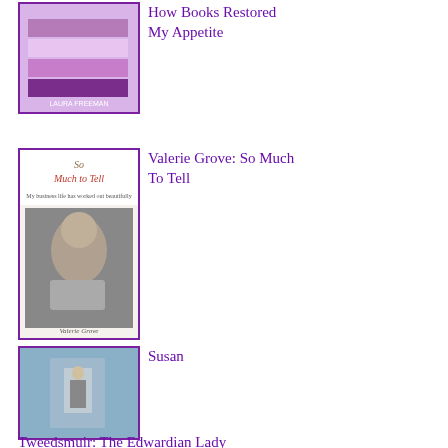[Figure (illustration): Book cover of 'How Books Restored My Appetite' by Laura Freeman - shows stacked books with purple/pink background]
How Books Restored My Appetite
[Figure (illustration): Book cover of 'So Much to Tell' by Valerie Grove - black and white photo of a woman posing]
Valerie Grove: So Much To Tell
[Figure (photo): Book cover of 'The Edwardian Lady' by Susan Tweedsmuir - a small figurine or object on a shelf]
Susan Tweedsmuir: The Edwardian Lady
[Figure (illustration): Book cover featuring a child and an animal - introduction by Elinor Children Goudge]
Barbara Willard: